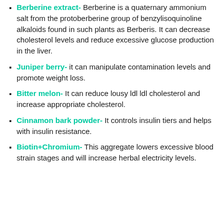Berberine extract- Berberine is a quaternary ammonium salt from the protoberberine group of benzylisoquinoline alkaloids found in such plants as Berberis. It can decrease cholesterol levels and reduce excessive glucose production in the liver.
Juniper berry- it can manipulate contamination levels and promote weight loss.
Bitter melon- It can reduce lousy ldl ldl cholesterol and increase appropriate cholesterol.
Cinnamon bark powder- It controls insulin tiers and helps with insulin resistance.
Biotin+Chromium- This aggregate lowers excessive blood strain stages and will increase herbal electricity levels.